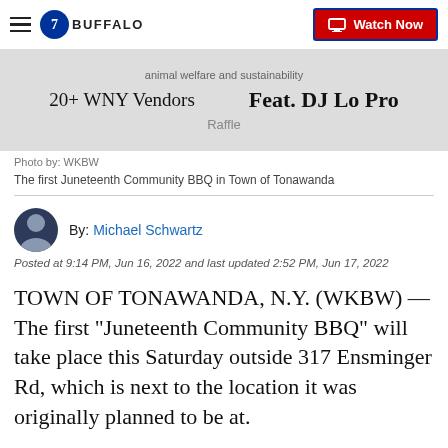7 BUFFALO | Watch Now
[Figure (photo): Partial image of a Juneteenth Community BBQ flyer showing text 'animal welfare and sustainability', '20+ WNY Vendors', 'Feat. DJ Lo Pro', and partially visible 'Raffle' text on a light background.]
Photo by: WKBW
The first Juneteenth Community BBQ in Town of Tonawanda
By: Michael Schwartz
Posted at 9:14 PM, Jun 16, 2022 and last updated 2:52 PM, Jun 17, 2022
TOWN OF TONAWANDA, N.Y. (WKBW) — The first "Juneteenth Community BBQ" will take place this Saturday outside 317 Ensminger Rd, which is next to the location it was originally planned to be at.